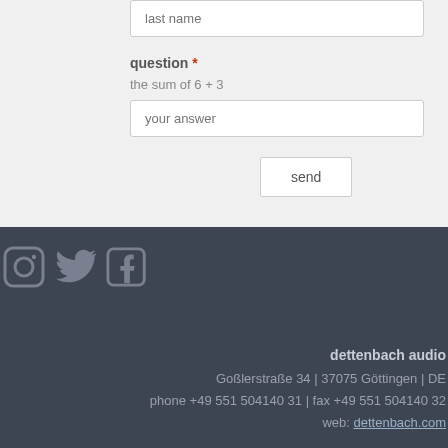last name
question *
the sum of 6 + 3
your answer
send
[Figure (illustration): Social media icons: Instagram, Twitter, Facebook]
dettenbach audio
Goßlerstraße 34 | 37075 Göttingen | DE
phone +49 551 504140 31 | fax +49 551 504140 32
web: dettenbach.com